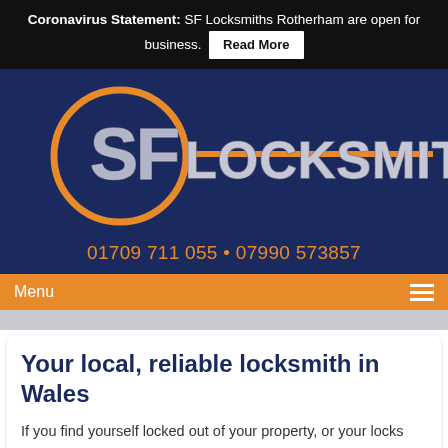Coronavirus Statement: SF Locksmiths Rotherham are open for business. Read More
[Figure (logo): SF Locksmith logo — circular orange ring with SF letters in silver/grey metallic style, and 'LOCKSMITH' text in silver/grey letters extending to the right with an orange key bar line through the text. Set on a dark navy blue background.]
01709 711 055 • 07990 573857
Menu
Your local, reliable locksmith in Wales
If you find yourself locked out of your property, or your locks are worn and need replacing, it pays to know a reliable locksmith in Wales is just a phone call away. SF Locksmiths understands